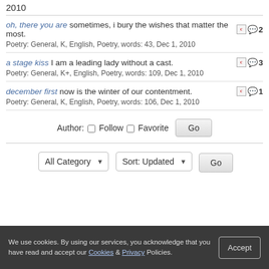2010
oh, there you are sometimes, i bury the wishes that matter the most. [c] 💬2
Poetry: General, K, English, Poetry, words: 43, Dec 1, 2010
a stage kiss I am a leading lady without a cast. [c] 💬3
Poetry: General, K+, English, Poetry, words: 109, Dec 1, 2010
december first now is the winter of our contentment. [c] 💬1
Poetry: General, K, English, Poetry, words: 106, Dec 1, 2010
Author: Follow Favorite Go
All Category Sort: Updated Go
We use cookies. By using our services, you acknowledge that you have read and accept our Cookies & Privacy Policies.